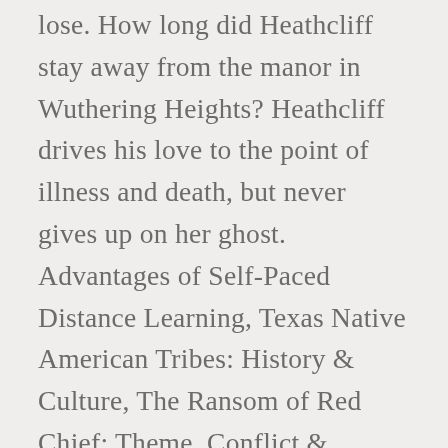lose. How long did Heathcliff stay away from the manor in Wuthering Heights? Heathcliff drives his love to the point of illness and death, but never gives up on her ghost. Advantages of Self-Paced Distance Learning, Texas Native American Tribes: History & Culture, The Ransom of Red Chief: Theme, Conflict & Climax, Preparing Records for Local & State Government Budgets, Chickamauga by Ambrose Bierce: Summary & Analysis, Quiz & Worksheet – Homer's Portrayal of the Gods in The Iliad, Quiz & Worksheet – Occurrence at Owl Creek Bridge Symbols, Quiz & Worksheet – The Masque of the Red Death Themes & Quotes, Flashcards – Real Estate Marketing Basics, Flashcards – Promotional Marketing in